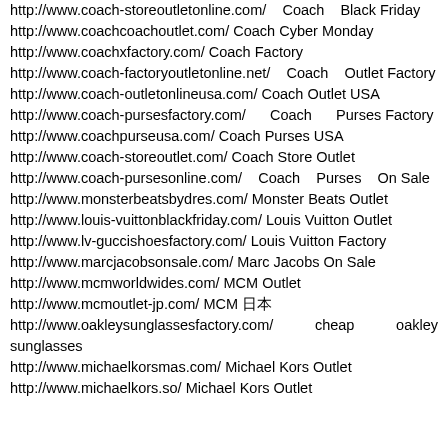http://www.coach-storeoutletonline.com/ Coach Black Friday
http://www.coachcoachoutlet.com/ Coach Cyber Monday
http://www.coachxfactory.com/ Coach Factory
http://www.coach-factoryoutletonline.net/ Coach Outlet Factory
http://www.coach-outletonlineusa.com/ Coach Outlet USA
http://www.coach-pursesfactory.com/ Coach Purses Factory
http://www.coachpurseusa.com/ Coach Purses USA
http://www.coach-storeoutlet.com/ Coach Store Outlet
http://www.coach-pursesonline.com/ Coach Purses On Sale
http://www.monsterbeatsbydres.com/ Monster Beats Outlet
http://www.louis-vuittonblackfriday.com/ Louis Vuitton Outlet
http://www.lv-guccishoesfactory.com/ Louis Vuitton Factory
http://www.marcjacobsonsale.com/ Marc Jacobs On Sale
http://www.mcmworldwides.com/ MCM Outlet
http://www.mcmoutlet-jp.com/ MCM 日本
http://www.oakleysunglassesfactory.com/ cheap oakley sunglasses
http://www.michaelkorsmas.com/ Michael Kors Outlet
http://www.michaelkors.so/ Michael Kors Outlet